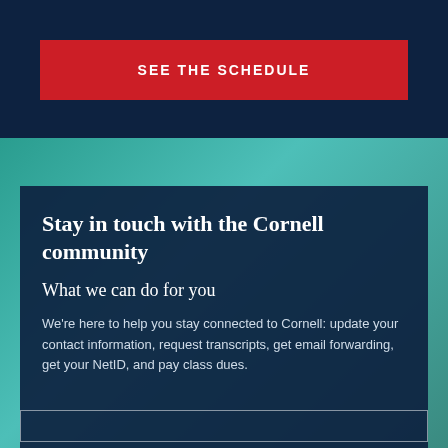SEE THE SCHEDULE
Stay in touch with the Cornell community
What we can do for you
We're here to help you stay connected to Cornell: update your contact information, request transcripts, get email forwarding, get your NetID, and pay class dues.